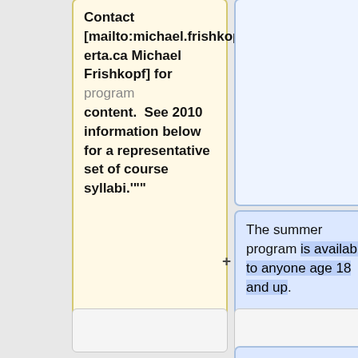Contact [mailto:michael.frishkopf@ualberta.ca Michael Frishkopf] for program content. See 2010 information below for a representative set of course syllabi.""
The summer program is available to anyone age 18 and up.
<!-- [https://www.go